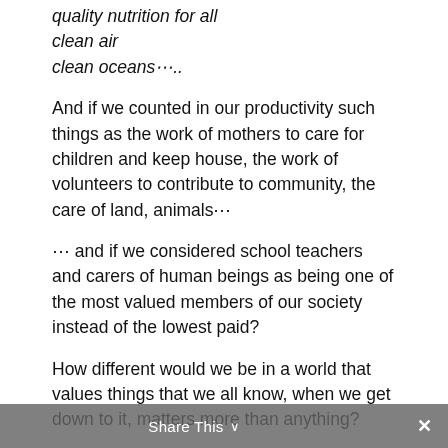quality nutrition for all
clean air
clean oceans⋯..
And if we counted in our productivity such things as the work of mothers to care for children and keep house, the work of volunteers to contribute to community, the care of land, animals⋯
⋯ and if we considered school teachers and carers of human beings as being one of the most valued members of our society instead of the lowest paid?
How different would we be in a world that values things that we all know, when we get down to it, matters more than anything?
A big bank account full of cash cannot save anyone from the terminal disease they have⋯they might be able to pay for the best treatment, but they cannot pay